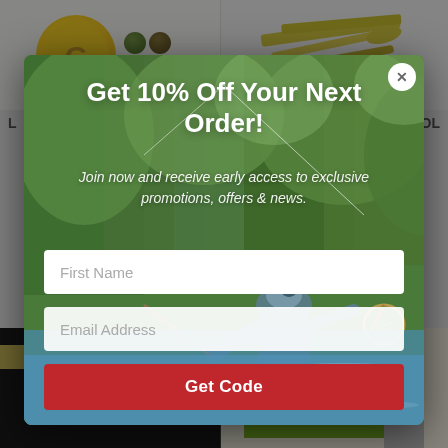[Figure (screenshot): Background webpage with product images visible behind modal overlay. Top row shows fishing/outdoor product images. Bottom shows 'Deep Soft Weight' and 'Loon Outdoors' product packaging.]
[Figure (photo): Modal popup overlay on webpage. Background shows angler fly fishing in river with green forest backdrop. Modal contains promotional offer.]
Get 10% Off Your Next Order!
Join now and receive early access to exclusive promotions, offers & news.
First Name
Email Address
Get Code